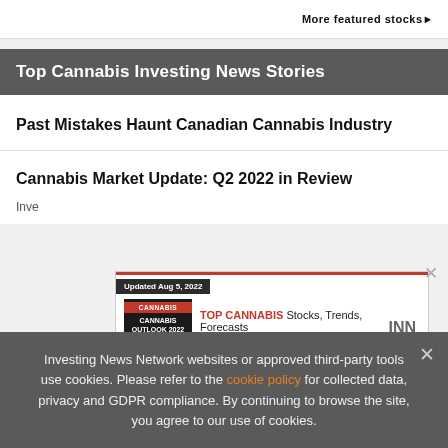More featured stocks▶
Top Cannabis Investing News Stories
Past Mistakes Haunt Canadian Cannabis Industry
Cannabis Market Update: Q2 2022 in Review
[Figure (other): Advertisement banner for INN Cannabis Outlook 2022 report showing 'Updated Aug 5, 2022', book cover, and text 'TOP CANNABIS Stocks, Trends, Forecasts 2022 Cannabis Outlook Report INN']
Investing News Network websites or approved third-party tools use cookies. Please refer to the cookie policy for collected data, privacy and GDPR compliance. By continuing to browse the site, you agree to our use of cookies.